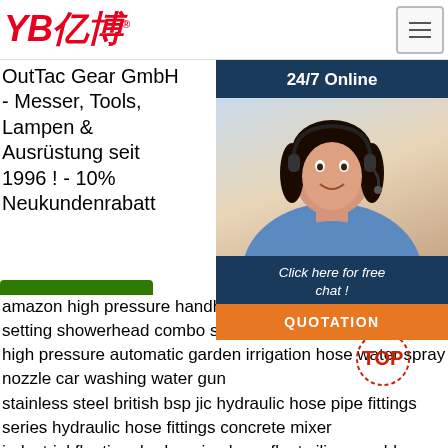YB亿博® [logo] | [menu button]
OutTac Gear GmbH - Messer, Tools, Lampen & Ausrüstung seit 1996 ! - 10% Neukundenrabatt
- Messer, Tools, Lampen & Ausrüstung seit 1996 ! - 10% Neukundenrabatt
[Figure (illustration): Customer service agent woman wearing headset, smiling, with 24/7 Online chat widget overlay including QUOTATION button]
Get Price
Get Price (right column)
amazon high pressure handheld shower heads 7 Spray setting showerhead combo suction cup bracket hose black
high pressure automatic garden irrigation hose water spray nozzle car washing water gun
stainless steel british bsp jic hydraulic hose pipe fittings series hydraulic hose fittings concrete mixer
industrial floating dredge pipe hose float silicone rubber hose
high pressure sand mud oil suction discharge drodging rubber